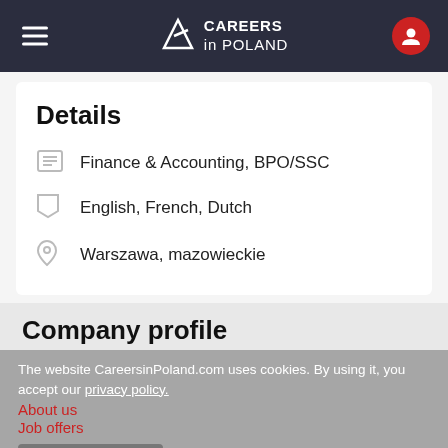Careers in Poland
Details
Finance & Accounting, BPO/SSC
English, French, Dutch
Warszawa, mazowieckie
Company profile
The website CareersinPoland.com uses cookies. By using it, you accept our privacy policy.
About us
Job offers
Accept
R…